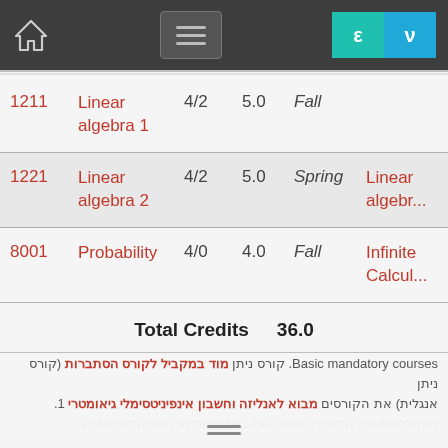Navigation bar with home icon, menu icon, language switcher (ε / ν)
| # | Name | Hours | Credits | Semester | Prerequisite |
| --- | --- | --- | --- | --- | --- |
| 1211 | Linear algebra 1 | 4/2 | 5.0 | Fall |  |
| 1221 | Linear algebra 2 | 4/2 | 5.0 | Spring | Linear algebra... |
| 8001 | Probability | 4/0 | 4.0 | Fall | Infinite Calcul... |
Total Credits    36.0
Basic mandatory courses. קורס ניתן מוד במקביל לקורס הסתברות (קורס ניתן אנגלית) את הקורסים מבוא לאנליזה וחשבון אינפיניטסימלי גיאומטרי 1. ניתן ללמוד את הקורס בהסתברות באחר שנלמדו שני הקורסים הג׳